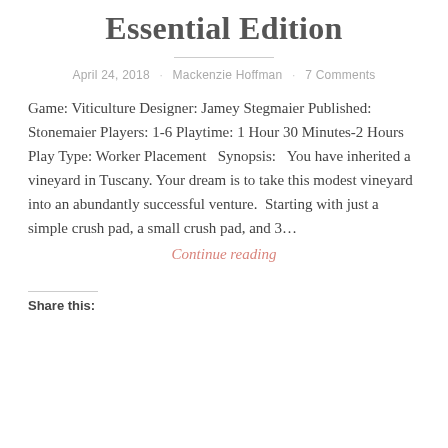Essential Edition
April 24, 2018 · Mackenzie Hoffman · 7 Comments
Game: Viticulture Designer: Jamey Stegmaier Published: Stonemaier Players: 1-6 Playtime: 1 Hour 30 Minutes-2 Hours Play Type: Worker Placement   Synopsis:   You have inherited a vineyard in Tuscany. Your dream is to take this modest vineyard into an abundantly successful venture.  Starting with just a simple crush pad, a small crush pad, and 3...
Continue reading
Share this: